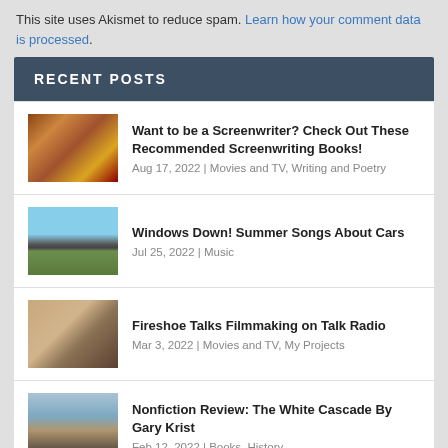This site uses Akismet to reduce spam. Learn how your comment data is processed.
RECENT POSTS
Want to be a Screenwriter? Check Out These Recommended Screenwriting Books! | Aug 17, 2022 | Movies and TV, Writing and Poetry
Windows Down! Summer Songs About Cars | Jul 25, 2022 | Music
Fireshoe Talks Filmmaking on Talk Radio | Mar 3, 2022 | Movies and TV, My Projects
Nonfiction Review: The White Cascade By Gary Krist | Feb 12, 2022 | Books, History